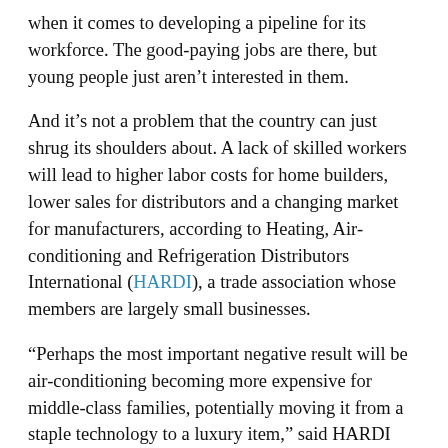when it comes to developing a pipeline for its workforce. The good-paying jobs are there, but young people just aren't interested in them.
And it's not a problem that the country can just shrug its shoulders about. A lack of skilled workers will lead to higher labor costs for home builders, lower sales for distributors and a changing market for manufacturers, according to Heating, Air-conditioning and Refrigeration Distributors International (HARDI), a trade association whose members are largely small businesses.
“Perhaps the most important negative result will be air-conditioning becoming more expensive for middle-class families, potentially moving it from a staple technology to a luxury item,” said HARDI CEO Talbot Gee at a House subcommittee hearing Tuesday that examined the skills gaps.